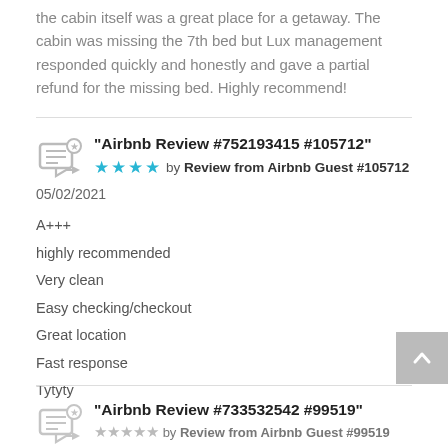the cabin itself was a great place for a getaway. The cabin was missing the 7th bed but Lux management responded quickly and honestly and gave a partial refund for the missing bed. Highly recommend!
"Airbnb Review #752193415 #105712"
★★★★ by Review from Airbnb Guest #105712
05/02/2021
A+++
highly recommended
Very clean
Easy checking/checkout
Great location
Fast response
Tytyty
"Airbnb Review #733532542 #99519"
by Review from Airbnb Guest #99519